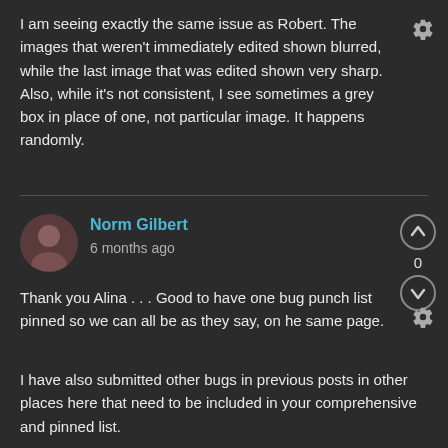I am seeing exactly the same issue as Robert. The images that weren't immediately edited shown blurred, while the last image that was edited shown very sharp. Also, while it's not consistent, I see sometimes a grey box in place of one, not particular image. It happens randomly.
Norm Gilbert
6 months ago
Thank you Alina . . . Good to have one bug punch list pinned so we can all be as they say, on he same page.
I have also submitted other bugs in previous posts in other places here that need to be included in your comprehensive and pinned list.